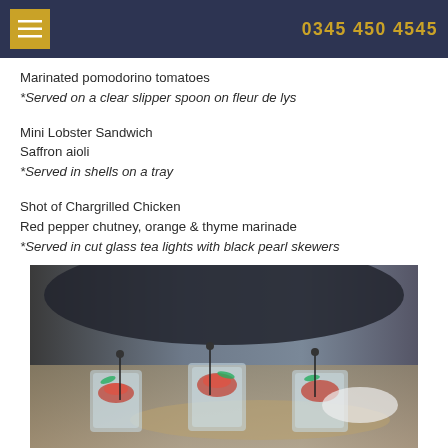0345 450 4545
Marinated pomodorino tomatoes
*Served on a clear slipper spoon on fleur de lys
Mini Lobster Sandwich
Saffron aioli
*Served in shells on a tray
Shot of Chargrilled Chicken
Red pepper chutney, orange & thyme marinade
*Served in cut glass tea lights with black pearl skewers
[Figure (photo): A waiter in a dark suit with white gloves holding a tray of cut glass cups filled with colourful food and black pearl skewers]